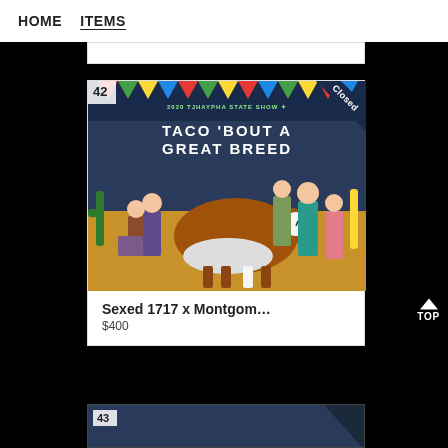HOME   ITEMS
[Figure (photo): Livestock show photo: Hereford cattle being shown at the 2020 TJHAYPHA State Show 'Taco Bout A Great Breed' event. Several handlers and spectators visible, item number 42 badge in top-left corner, 'Closed' badge in top-right corner.]
Sexed 1717 x Montgom…
$400